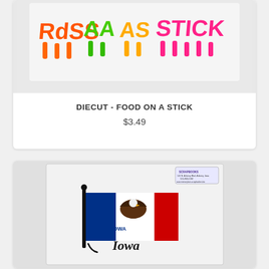[Figure (photo): Product image showing colorful popsicle/food-on-a-stick die cut stickers in orange, green, yellow, and pink colors against a light background]
DIECUT - FOOD ON A STICK
$3.49
[Figure (photo): Product image showing an Iowa state flag die cut sticker in a clear plastic package with a Memory Lane Scrapbooks store label. The sticker depicts the Iowa state flag with blue, white, and red stripes, an eagle, and a cursive 'Iowa' script below.]